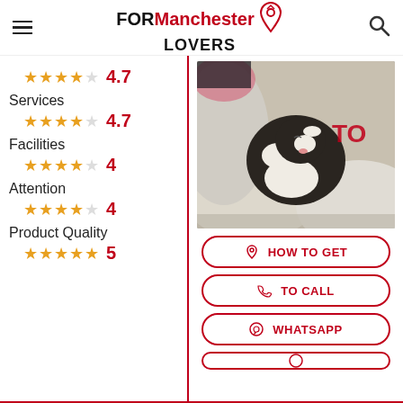FOR Manchester LOVERS
★★★★☆ 4.7
Services
★★★★☆ 4.7
Facilities
★★★★☆ 4
Attention
★★★★☆ 4
Product Quality
★★★★★ 5
[Figure (photo): A black and white cat wrapped in a white blanket or fabric with red embroidered text visible]
HOW TO GET
TO CALL
WHATSAPP